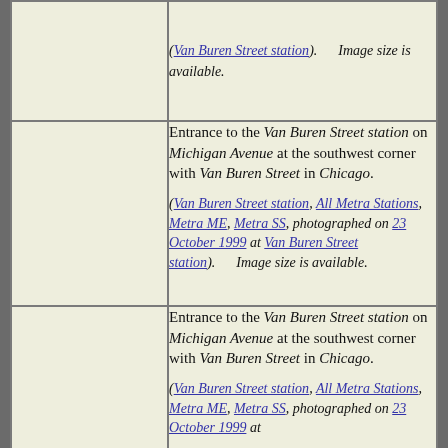| Image | Description |
| --- | --- |
| [image] | (Van Buren Street station).      Image size is available. |
| [image] | Entrance to the Van Buren Street station on Michigan Avenue at the southwest corner with Van Buren Street in Chicago.

(Van Buren Street station, All Metra Stations, Metra ME, Metra SS, photographed on 23 October 1999 at Van Buren Street station).      Image size is available. |
| [image] | Entrance to the Van Buren Street station on Michigan Avenue at the southwest corner with Van Buren Street in Chicago.

(Van Buren Street station, All Metra Stations, Metra ME, Metra SS, photographed on 23 October 1999 at |